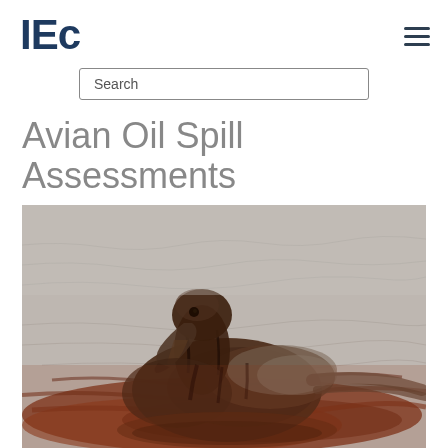IEc
Search
Avian Oil Spill Assessments
[Figure (photo): A brown pelican heavily coated in dark crude oil floating on oil-covered water, photographed during an oil spill event]